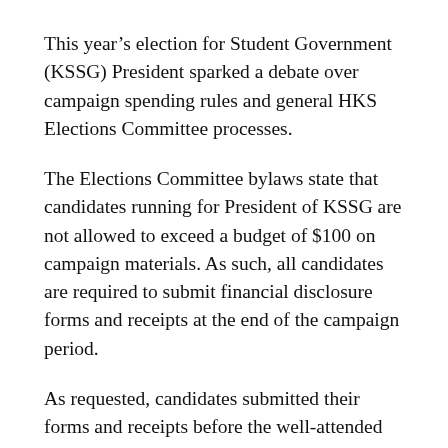This year’s election for Student Government (KSSG) President sparked a debate over campaign spending rules and general HKS Elections Committee processes.
The Elections Committee bylaws state that candidates running for President of KSSG are not allowed to exceed a budget of $100 on campaign materials. As such, all candidates are required to submit financial disclosure forms and receipts at the end of the campaign period.
As requested, candidates submitted their forms and receipts before the well-attended Presidential Forum last Monday, Sept. 24, after which HKS students began to cast their votes.
The race was tight, with Rohit Malhotra, MPP ’13 earning 37 percent of the votes and Mariana Filgueira Filgueira, MPA ’13 following close behind with 32 percent. Given the absence of an absolute majority, the Elections Committee scheduled a run-off.